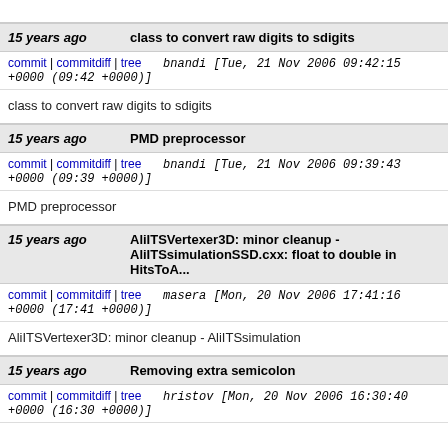15 years ago | class to convert raw digits to sdigits
commit | commitdiff | tree  bnandi [Tue, 21 Nov 2006 09:42:15 +0000 (09:42 +0000)]
class to convert raw digits to sdigits
15 years ago | PMD preprocessor
commit | commitdiff | tree  bnandi [Tue, 21 Nov 2006 09:39:43 +0000 (09:39 +0000)]
PMD preprocessor
15 years ago | AliITSVertexer3D: minor cleanup - AliITSsimulationSSD.cxx: float to double in HitsToA...
commit | commitdiff | tree  masera [Mon, 20 Nov 2006 17:41:16 +0000 (17:41 +0000)]
AliITSVertexer3D: minor cleanup - AliITSsimulation...
15 years ago | Removing extra semicolon
commit | commitdiff | tree  hristov [Mon, 20 Nov 2006 16:30:40 +0000 (16:30 +0000)]